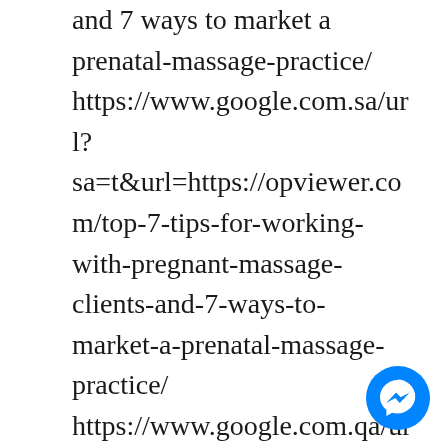and 7 ways to market a prenatal-massage-practice/ https://www.google.com.sa/url?sa=t&url=https://opviewer.com/top-7-tips-for-working-with-pregnant-massage-clients-and-7-ways-to-market-a-prenatal-massage-practice/ https://www.google.com.qa/url?sa=t&url=https://opviewer.com/top-7-tips-for-working-with-pregnant-massage-clients-and-7-ways-to-market-a-
[Figure (other): Facebook Messenger chat button (blue circle with white lightning bolt/messenger icon)]